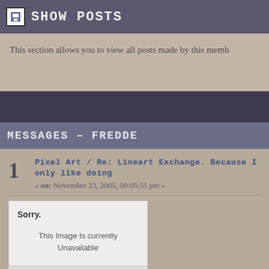SHOW POSTS
This section allows you to view all posts made by this memb...
MESSAGES – FREDDE
1  Pixel Art / Re: Lineart Exchange. Because I only like doing... « on: November 23, 2005, 09:05:55 pm »
[Figure (screenshot): Photobucket image placeholder showing 'Sorry. This image is currently Unavailable' with photobucket logo at bottom]